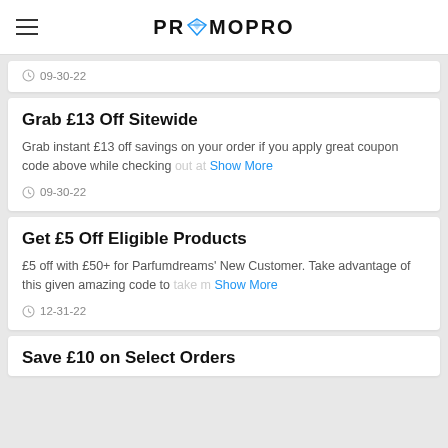PROMOPRO
09-30-22
Grab £13 Off Sitewide
Grab instant £13 off savings on your order if you apply great coupon code above while checking out at  Show More
09-30-22
Get £5 Off Eligible Products
£5 off with £50+ for Parfumdreams' New Customer. Take advantage of this given amazing code to take m  Show More
12-31-22
Save £10 on Select Orders